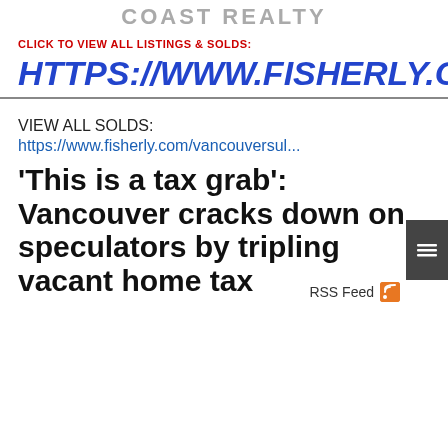COAST REALTY
CLICK TO VIEW ALL LISTINGS & SOLDS:
HTTPS://WWW.FISHERLY.COM/
VIEW ALL SOLDS:
https://www.fisherly.com/vancouversul...
RSS Feed
'This is a tax grab': Vancouver cracks down on speculators by tripling vacant home tax